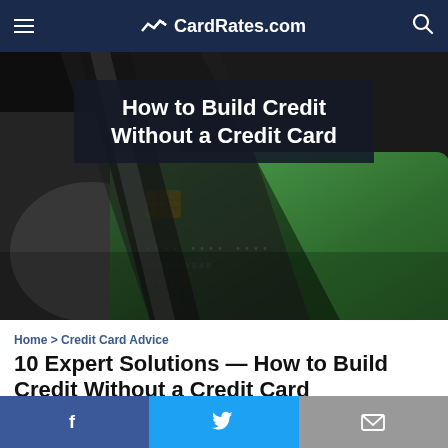CardRates.com
[Figure (photo): Green credit card being cut by scissors on dark background, with overlay title text 'How to Build Credit Without a Credit Card']
Home > Credit Card Advice
10 Expert Solutions — How to Build Credit Without a Credit Card
Written by: Ashley Dull
Edited by: Lillian Guevara-Castro